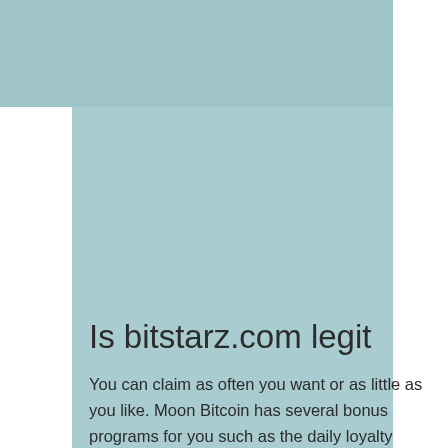[Figure (illustration): Decorative teal/light blue background shapes: a large rectangle in the upper portion and an overlapping rectangle below and to the right, with a white area at the left side.]
Is bitstarz.com legit
You can claim as often you want or as little as you like. Moon Bitcoin has several bonus programs for you such as the daily loyalty bonus, the offer bonus, and mystery bonus programs through which you can get benefits and earn up to 500%, is bitstarz.com legit